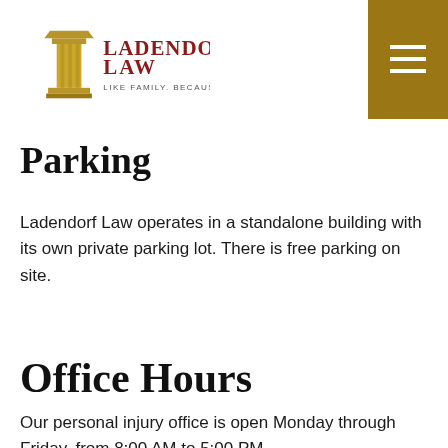Ladendorf Law — Like Family. Because We Are.
Parking
Ladendorf Law operates in a standalone building with its own private parking lot. There is free parking on site.
Office Hours
Our personal injury office is open Monday through Friday, from 8:00 AM to 5:00 PM.
We are also available outside of office hours by special request. Please call our